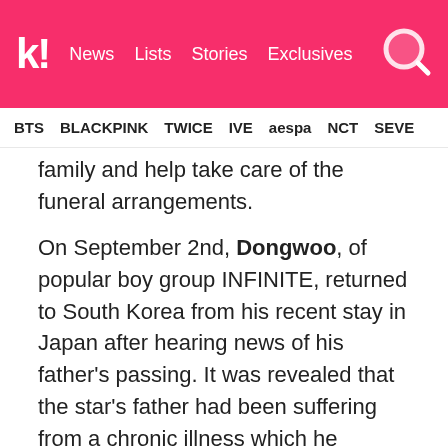k! News Lists Stories Exclusives
BTS BLACKPINK TWICE IVE aespa NCT SEVE
family and help take care of the funeral arrangements.
On September 2nd, Dongwoo, of popular boy group INFINITE, returned to South Korea from his recent stay in Japan after hearing news of his father's passing. It was revealed that the star's father had been suffering from a chronic illness which he unfortunately succumbed to in the early morning of the 2nd.
Dongwoo is currently said to be with his family members at the mortuary while being by their side as well as helping with the arrangements